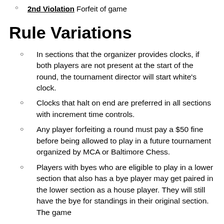2nd Violation Forfeit of game
Rule Variations
In sections that the organizer provides clocks, if both players are not present at the start of the round, the tournament director will start white's clock.
Clocks that halt on end are preferred in all sections with increment time controls.
Any player forfeiting a round must pay a $50 fine before being allowed to play in a future tournament organized by MCA or Baltimore Chess.
Players with byes who are eligible to play in a lower section that also has a bye player may get paired in the lower section as a house player. They will still have the bye for standings in their original section. The game